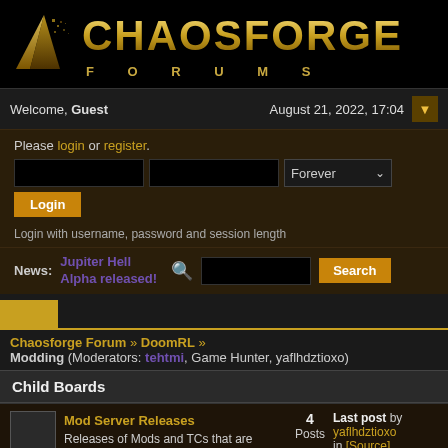[Figure (logo): Chaosforge Forums logo with golden triangle/mountain icon and golden text CHAOSFORGE FORUMS]
Welcome, Guest	August 21, 2022, 17:04
Please login or register.
Forever (dropdown) Login
Login with username, password and session length
News: Jupiter Hell Alpha released!
Chaosforge Forum » DoomRL » Modding (Moderators: tehtmi, Game Hunter, yaflhdztioxo)
Child Boards
Mod Server Releases
Releases of Mods and TCs that are present on the mod server
4 Posts
Last post by yaflhdztioxo in [Source]